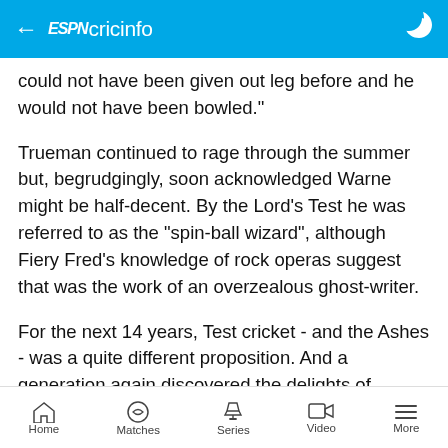ESPN cricinfo
could not have been given out leg before and he would not have been bowled."
Trueman continued to rage through the summer but, begrudgingly, soon acknowledged Warne might be half-decent. By the Lord's Test he was referred to as the "spin-ball wizard", although Fiery Fred's knowledge of rock operas suggest that was the work of an overzealous ghost-writer.
For the next 14 years, Test cricket - and the Ashes - was a quite different proposition. And a generation again discovered the delights of seemingly dead
Home  Matches  Series  Video  More